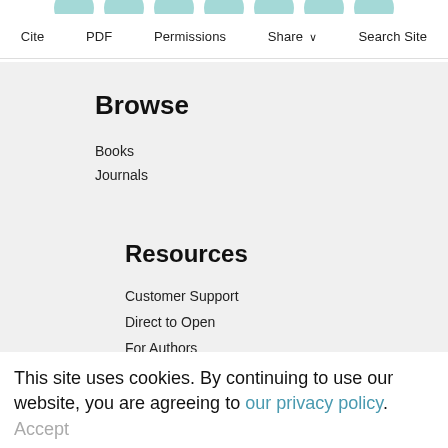Cite   PDF   Permissions   Share ∨   Search Site
Browse
Books
Journals
Resources
Customer Support
Direct to Open
For Authors
For Librarians
Media Inquiries
FAQ
This site uses cookies. By continuing to use our website, you are agreeing to our privacy policy.
Accept
MIT Press Links